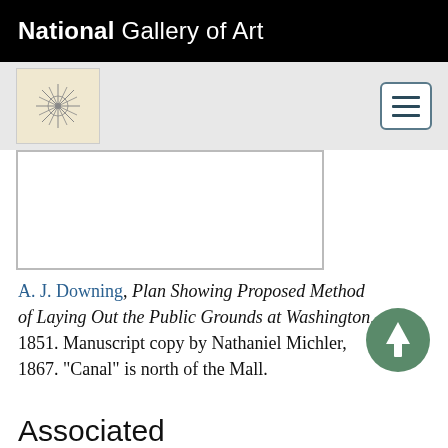National Gallery of Art
[Figure (logo): Navigation bar with NGA logo icon (circular star/compass design on tan background) and hamburger menu button]
[Figure (other): White rectangular image area with border, partially visible artwork]
A. J. Downing, Plan Showing Proposed Method of Laying Out the Public Grounds at Washington, 1851. Manuscript copy by Nathaniel Michler, 1867. "Canal" is north of the Mall.
Associated